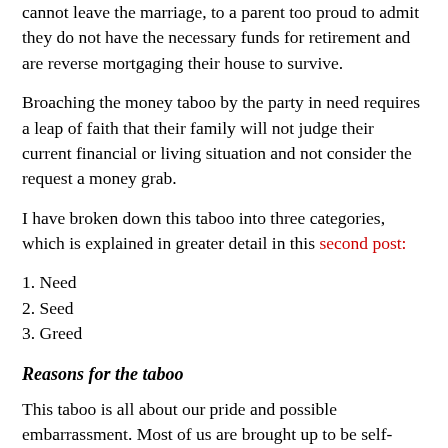cannot leave the marriage, to a parent too proud to admit they do not have the necessary funds for retirement and are reverse mortgaging their house to survive.
Broaching the money taboo by the party in need requires a leap of faith that their family will not judge their current financial or living situation and not consider the request a money grab.
I have broken down this taboo into three categories, which is explained in greater detail in this second post:
1. Need
2. Seed
3. Greed
Reasons for the taboo
This taboo is all about our pride and possible embarrassment. Most of us are brought up to be self-sufficient and responsible for our own financial well-being. To ask for money is admitting we have failed at being self-